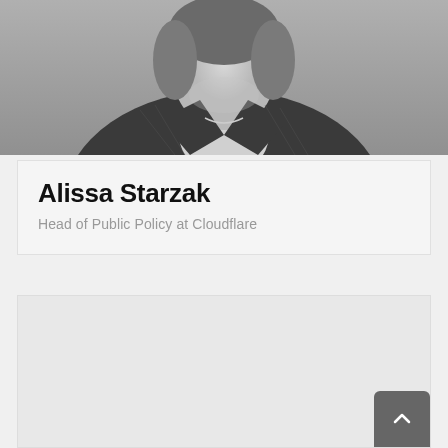[Figure (photo): Black and white headshot photograph of Alissa Starzak, a woman wearing a pinstripe blazer with a small necklace, cropped to show head and upper shoulders]
Alissa Starzak
Head of Public Policy at Cloudflare
[Figure (other): Light gray content placeholder area with a dark gray back-to-top chevron button in the lower right corner]